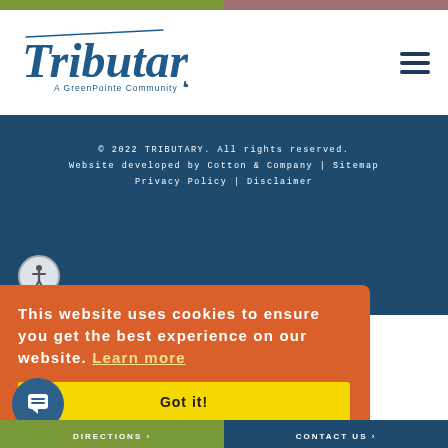[Figure (logo): Tributary - A GreenPointe Community logo in dark blue italic script font]
[Figure (illustration): Hamburger menu icon (three horizontal lines)]
© 2022 TRIBUTARY. All rights reserved.
Website developed by Cotton & Company | Sitemap
Privacy Policy | Disclaimer
[Figure (illustration): Accessibility icon - person in circle]
This website uses cookies to ensure you get the best experience on our website. Learn more
Got it!
[Figure (illustration): Chat bubble icon]
DIRECTIONS >
CONTACT US >